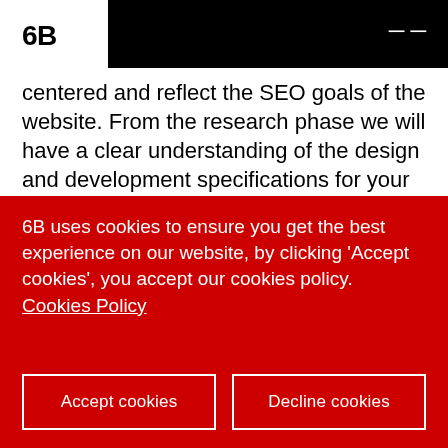6B
centered and reflect the SEO goals of the website. From the research phase we will have a clear understanding of the design and development specifications for your website.
Design – Once we have established a clear strategy we will design your eCommerce
6B uses cookies to ensure you get the best experience on our website, by clicking 'Accept cookies', you accept our cookies policy. Cookies Policy
Accept cookies
Decline cookies